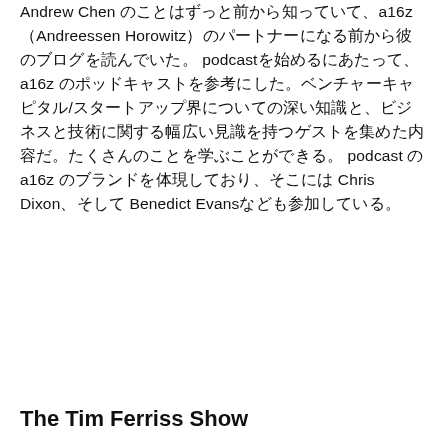Andrew Chen のことはずっと前から知っていて、a16z（Andreessen Horowitz）のパートナーになる前から彼のブログを読んでいた。 podcast を始めるにあたって、a16z のポッドキャストを参考にした。ベンチャーキャピタル/スタートアップ界についての深い知識と、ビジネスと技術に関する幅広い見識を持つゲストを集めた内容だ。podcast は a16z のブランドを体現しており、そこには Chris Dixon、そして Benedict Evans なども参加している。
The Tim Ferriss Show